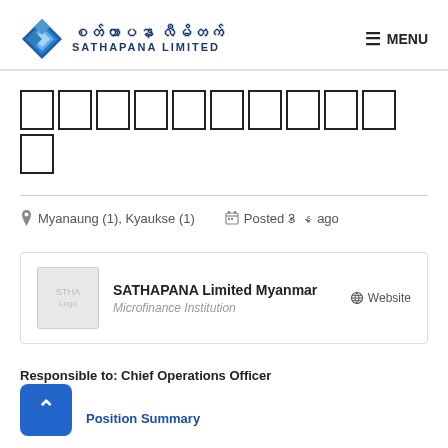Sathapana Limited
[Figure (logo): Sathapana Limited logo with blue diamond shape and Myanmar/Latin text]
ဘဏ္ဌာရေးမြောက်မြားသော
Myanaung (1), Kyaukse (1)   Posted 3 ago
| SATHAPANA Limited Myanmar | Website |
| Microfinance Institution |  |
Responsible to: Chief Operations Officer
Position Summary